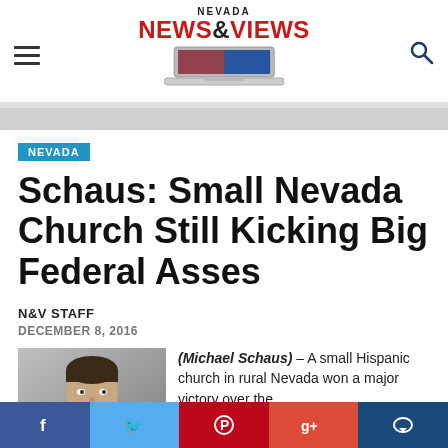Nevada News & Views
NEVADA
Schaus: Small Nevada Church Still Kicking Big Federal Asses
N&V STAFF
DECEMBER 8, 2016
[Figure (photo): Portrait photo of Michael Schaus, a man with dark hair against a gray background]
(Michael Schaus) – A small Hispanic church in rural Nevada won a major victory over the